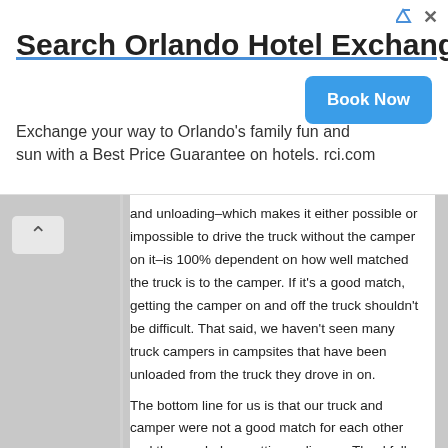[Figure (other): Advertisement banner for Orlando Hotel Exchange with 'Book Now' button]
and unloading–which makes it either possible or impossible to drive the truck without the camper on it–is 100% dependent on how well matched the truck is to the camper. If it's a good match, getting the camper on and off the truck shouldn't be difficult. That said, we haven't seen many truck campers in campsites that have been unloaded from the truck they drove in on.

The bottom line for us is that our truck and camper were not a good match for each other and they ended up getting a divorce. Thankfully, the divorce was an amicable one.
In Contrast: A Good Truck/Camper Pairing
When we sold the camper, the perfect buyer snapped it